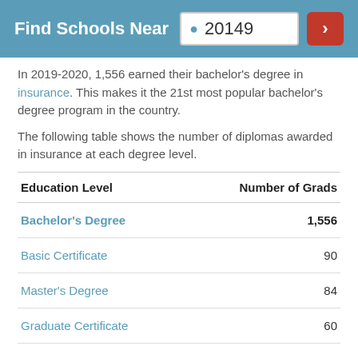Find Schools Near 20149
In 2019-2020, 1,556 earned their bachelor's degree in insurance. This makes it the 21st most popular bachelor's degree program in the country.
The following table shows the number of diplomas awarded in insurance at each degree level.
| Education Level | Number of Grads |
| --- | --- |
| Bachelor's Degree | 1,556 |
| Basic Certificate | 90 |
| Master's Degree | 84 |
| Graduate Certificate | 60 |